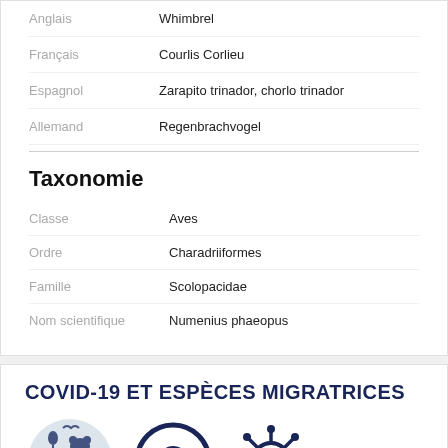Anglais — Whimbrel
Français — Courlis Corlieu
Espagnol — Zarapito trinador, chorlo trinador
Allemand — Regenbrachvogel
Taxonomie
Classe — Aves
Ordre — Charadriiformes
Famille — Scolopacidae
Nom scientifique — Numenius phaeopus
COVID-19 ET ESPÈCES MIGRATRICES
[Figure (illustration): Three icons: a collage of migratory animal silhouettes, a question mark in a circle, and a coronavirus particle icon]